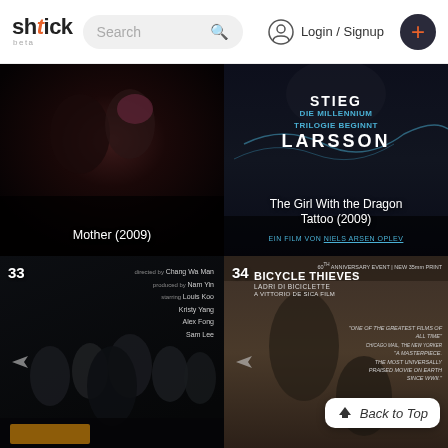[Figure (screenshot): Shtick beta website header with logo, search bar, login/signup, and plus button]
[Figure (photo): Movie poster thumbnail for Mother (2009), dark cinematic scene with two figures]
[Figure (photo): Movie poster for The Girl With the Dragon Tattoo (2009), Stieg Larsson Millennium Trilogie, German edition, directed by Niels Arsen Oplev]
[Figure (photo): Movie poster #33, Hong Kong film with cast including Chang Wa Man, Nan Yin, Louis Koo, Kristy Yang, Alex Fong, Sam Lee]
[Figure (photo): Movie poster #34 for Bicycle Thieves (Ladri di Biciclette), A Vittorio De Sica Film, 60th Anniversary Event New 35mm Print, with Back to Top button overlay]